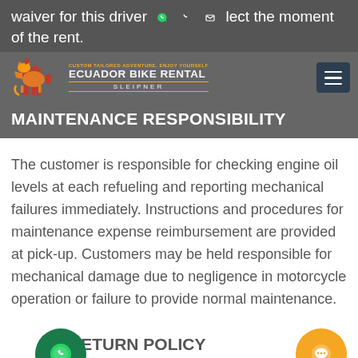waiver for this driver need the moment of the rent.
[Figure (logo): Ecuador Bike Rental by Sleipner logo with horse icon and navigation hamburger menu]
MAINTENANCE RESPONSIBILITY
The customer is responsible for checking engine oil levels at each refueling and reporting mechanical failures immediately. Instructions and procedures for maintenance expense reimbursement are provided at pick-up. Customers may be held responsible for mechanical damage due to negligence in motorcycle operation or failure to provide normal maintenance.
RETURN POLICY